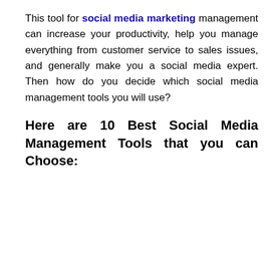This tool for social media marketing management can increase your productivity, help you manage everything from customer service to sales issues, and generally make you a social media expert. Then how do you decide which social media management tools you will use?
Here are 10 Best Social Media Management Tools that you can Choose: